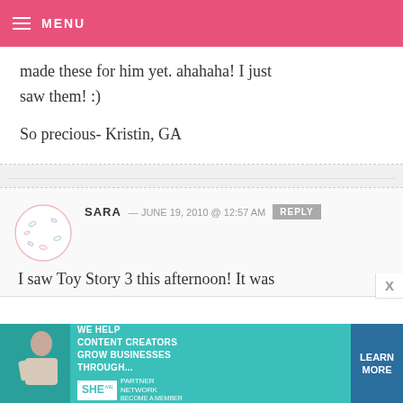MENU
made these for him yet. ahahaha! I just saw them! :)

So precious- Kristin, GA
SARA — JUNE 19, 2010 @ 12:57 AM
I saw Toy Story 3 this afternoon! It was WONDERFUL! I must admit, I cried at the ending :)
[Figure (infographic): SHE Media Partner Network advertisement banner with woman photo, teal background, text: WE HELP CONTENT CREATORS GROW BUSINESSES THROUGH... and LEARN MORE button]